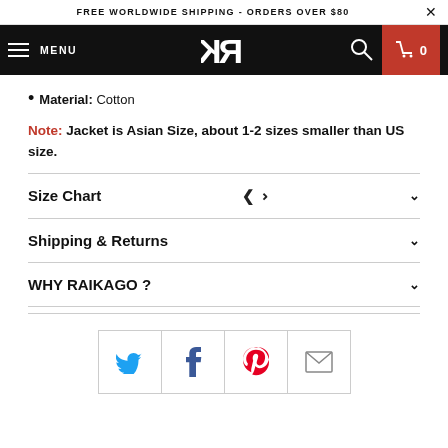FREE WORLDWIDE SHIPPING - ORDERS OVER $80
MENU [logo RK] [search] [cart 0]
Material: Cotton
Note: Jacket is Asian Size, about 1-2 sizes smaller than US size.
Size Chart
Shipping & Returns
WHY RAIKAGO ?
[Figure (infographic): Social sharing icons row: Twitter (blue bird), Facebook (blue f), Pinterest (red P), Email (grey envelope)]